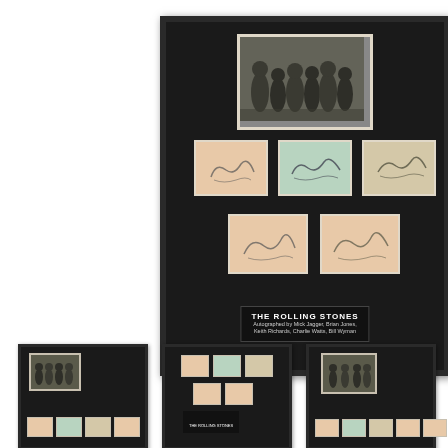[Figure (photo): Large framed Rolling Stones memorabilia display. Contains a black-and-white group photo at top, five autograph cards (three in top row, two in bottom row) on black matting, and a label plate reading 'THE ROLLING STONES — Autographed by Mick Jagger, Brian Jones, Keith Richards, Charlie Watts, Bill Wyman'. Below the main frame are three smaller thumbnail views of the same piece from different angles.]